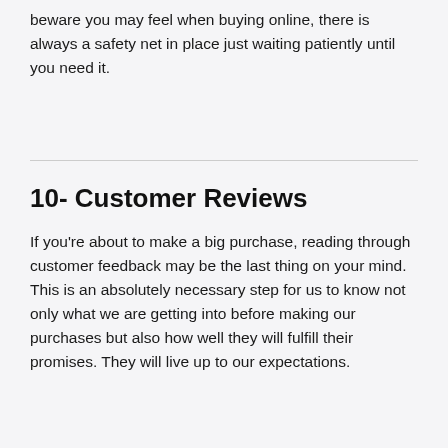beware you may feel when buying online, there is always a safety net in place just waiting patiently until you need it.
10- Customer Reviews
If you're about to make a big purchase, reading through customer feedback may be the last thing on your mind. This is an absolutely necessary step for us to know not only what we are getting into before making our purchases but also how well they will fulfill their promises. They will live up to our expectations.